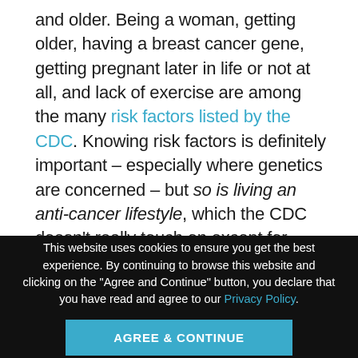and older. Being a woman, getting older, having a breast cancer gene, getting pregnant later in life or not at all, and lack of exercise are among the many risk factors listed by the CDC. Knowing risk factors is definitely important – especially where genetics are concerned – but so is living an anti-cancer lifestyle, which the CDC doesn't really touch on except for mentioning lack of physical activity as a risk factor.
This website uses cookies to ensure you get the best experience. By continuing to browse this website and clicking on the "Agree and Continue" button, you declare that you have read and agree to our Privacy Policy.